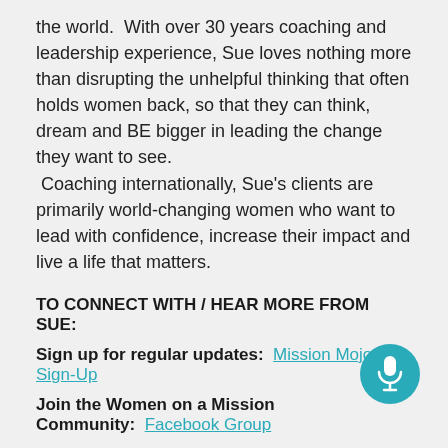the world.  With over 30 years coaching and leadership experience, Sue loves nothing more than disrupting the unhelpful thinking that often holds women back, so that they can think, dream and BE bigger in leading the change they want to see.  Coaching internationally, Sue's clients are primarily world-changing women who want to lead with confidence, increase their impact and live a life that matters.
TO CONNECT WITH / HEAR MORE FROM SUE:
Sign up for regular updates:  Mission Mojo Sign-Up
Join the Women on a Mission Community:  Facebook Group